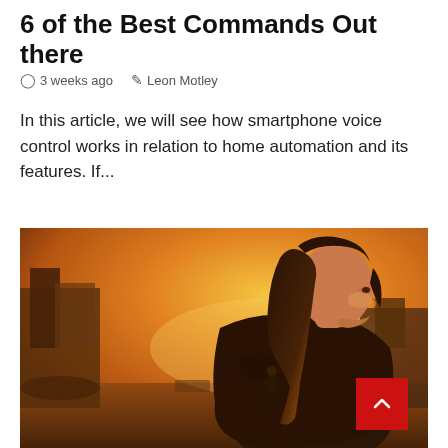6 of the Best Commands Out there
3 weeks ago   Leon Motley
In this article, we will see how smartphone voice control works in relation to home automation and its features. If...
[Figure (illustration): Digital art illustration of a young woman with a ponytail viewed from behind/side profile, standing in a post-apocalyptic ruined city with warm orange sunset sky. A smaller male figure stands in the mid-ground. Power lines and destroyed buildings visible in background.]